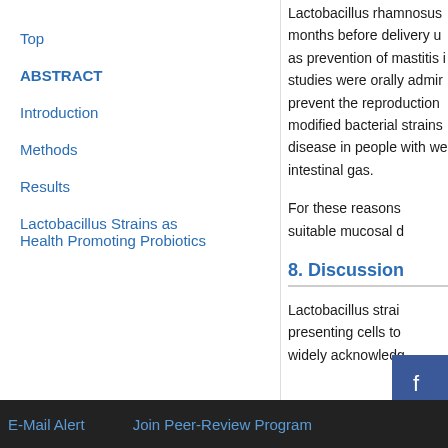Lactobacillus rhamnosus months before delivery u as prevention of mastitis i studies were orally admir prevent the reproduction modified bacterial strains disease in people with we intestinal gas.
For these reasons suitable mucosal d
8. Discussion
Lactobacillus strai presenting cells to widely acknowledg
Top
ABSTRACT
Introduction
Methods
Results
Lactobacillus Strains as Health Promoting Probiotics
E-Mail Alert   Join Peer-Review Program